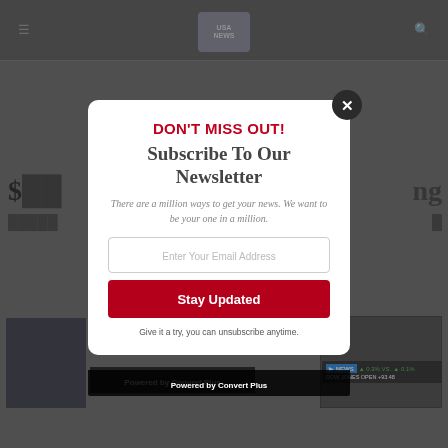[Figure (screenshot): Website background showing a news website (The USA Conservative? site) with hamburger menu, logo, search icon, and partially visible headline text. A modal popup overlay is displayed.]
DON'T MISS OUT!
Subscribe To Our Newsletter
There are a million ways to get your news. We want to be your one in a million.
Enter Your Email Address
Stay Updated
Give it a try, you can unsubscribe anytime.
Powered by Convert Plus